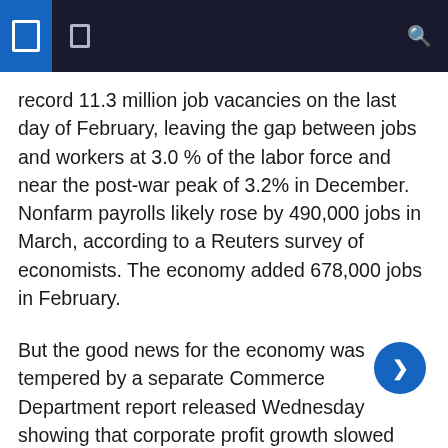record 11.3 million job vacancies on the last day of February, leaving the gap between jobs and workers at 3.0 % of the labor force and near the post-war peak of 3.2% in December. Nonfarm payrolls likely rose by 490,000 jobs in March, according to a Reuters survey of economists. The economy added 678,000 jobs in February.
But the good news for the economy was tempered by a separate Commerce Department report released Wednesday showing that corporate profit growth slowed significantly in the fourth quarter as domestic financial companies suffered declines. Profits for domestic non-financial corporations and the rest of the world rose moderately.
Corporate profits with inventory valuation and capital